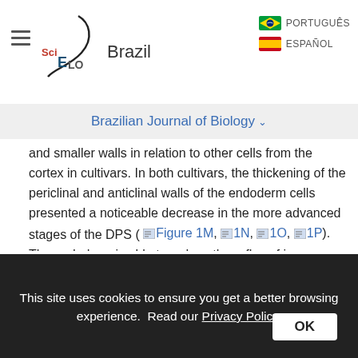SciELO Brazil | PORTUGUÊS | ESPAÑOL
Brazilian Journal of Biology ˅
and smaller walls in relation to other cells from the cortex in cultivars. In both cultivars, the thickening of the periclinal and anticlinal walls of the endoderm cells presented a noticeable decrease in the more advanced stages of the DPS ( Figure 1M, 1N, 1O, 1P). The endoderm is able to reduce the reflux of ions accumulated in the vascular cylinder and in the cortex, hindering its loss to the soil solution (Steudle, 2000).
The pericycle, a set of sclerenchymatic fibers in two or three layers that involve the vascular
This site uses cookies to ensure you get a better browsing experience. Read our Privacy Policy. OK